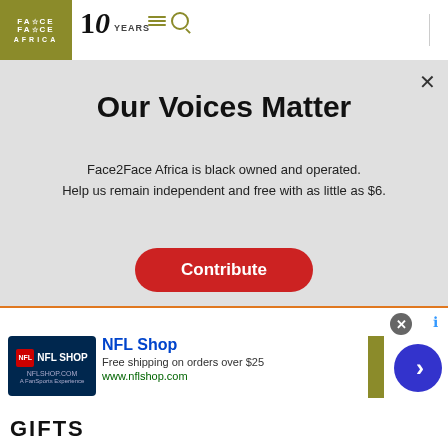Face2Face Africa — 10 YEARS
Our Voices Matter
Face2Face Africa is black owned and operated. Help us remain independent and free with as little as $6.
Contribute
ThreecollaborationsbetweenAfr... artistesthat would be a hitif reali
We use cookies to collect and analyse information on site performance and usage, and to enhance and customise content and advertising. By Clicking "Accept" you click into consent to...
[Figure (screenshot): NFL Shop advertisement banner with logo, 'Free shipping on orders over $25', www.nflshop.com, GIFTS text, and arrow button]